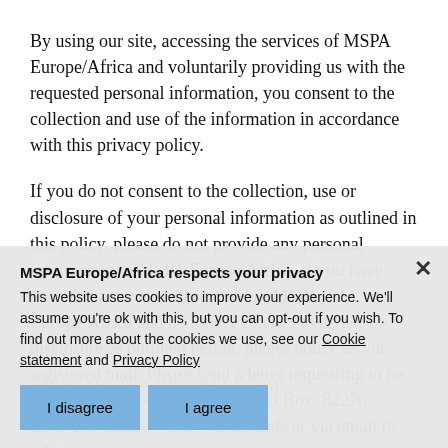By using our site, accessing the services of MSPA Europe/Africa and voluntarily providing us with the requested personal information, you consent to the collection and use of the information in accordance with this privacy policy.
If you do not consent to the collection, use or disclosure of your personal information as outlined in this policy, please do not provide any personal information to MSPA Europe/Africa. If you have provided personal information to MSPA Europe/Africa and no longer consent to its use or disclosure as outlined herein, please notify us via registered mail. Please send a letter requesting to be removed from our database to: PO Box  82276 – 2508 The Hague – The Netherlands or via email to info@mspa-ea.org
How do we protect your information?
We use SSL encryption to protect data transmissions. We also safeguard your personal information from unauthorized access control procedures, network firewalls and physical security measures.
MSPA Europe/Africa respects your privacy
This website uses cookies to improve your experience. We'll assume you're ok with this, but you can opt-out if you wish. To find out more about the cookies we use, see our Cookie statement and Privacy Policy